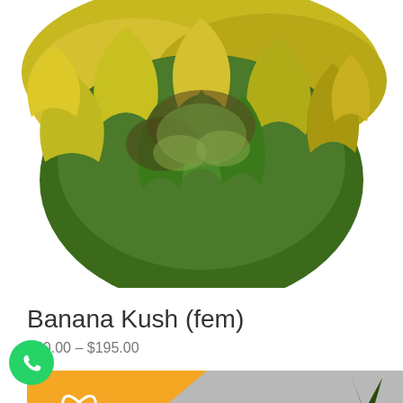[Figure (photo): Close-up photo of Banana Kush cannabis plant with yellow-green leaves and dense buds]
Banana Kush (fem)
$60.00 – $195.00
[Figure (photo): Cannabis plant photo with orange diagonal badge in top-left corner containing a white Atomic/star logo icon, plant on grey background]